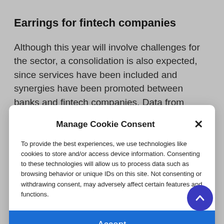Earrings for fintech companies
Although this year will involve challenges for the sector, a consolidation is also expected, since services have been included and synergies have been promoted between banks and fintech companies. Data from Finnovista and the IDB...
Manage Cookie Consent
To provide the best experiences, we use technologies like cookies to store and/or access device information. Consenting to these technologies will allow us to process data such as browsing behavior or unique IDs on this site. Not consenting or withdrawing consent, may adversely affect certain features and functions.
Accept